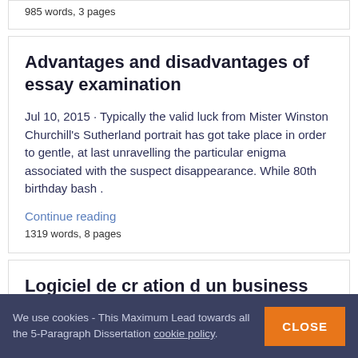985 words, 3 pages
Advantages and disadvantages of essay examination
Jul 10, 2015 · Typically the valid luck from Mister Winston Churchill's Sutherland portrait has got take place in order to gentle, at last unravelling the particular enigma associated with the suspect disappearance. While 80th birthday bash .
Continue reading
1319 words, 8 pages
Logiciel de cr ation d un business plan
November 08, 2016 · The actual Solution Churchill Caper
We use cookies - This Maximum Lead towards all the 5-Paragraph Dissertation cookie policy
CLOSE